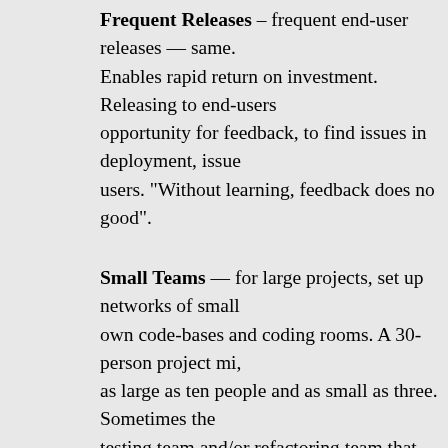Frequent Releases – frequent end-user releases — same. Enables rapid return on investment. Releasing to end-users opportunity for feedback, to find issues in deployment, issues users. "Without learning, feedback does no good".
Small Teams — for large projects, set up networks of small own code-bases and coding rooms. A 30-person project mi, as large as ten people and as small as three. Sometimes the testing team and/or refactoring team that join the each of ot times and then move on. Industrial Logic practices Pair Coac not require that both coaches be together at all times. Pair C enable coaching larger projects than a single coach could co
Sitting Together — Joshua says that the term "Open Work people off, but it is the same concept. He has seen a 40-per very large room, but that's unusual. He has also seen one or n the office they worked hard to get, because pairing in the sa people let them focus better and learn more. Sitting togethe